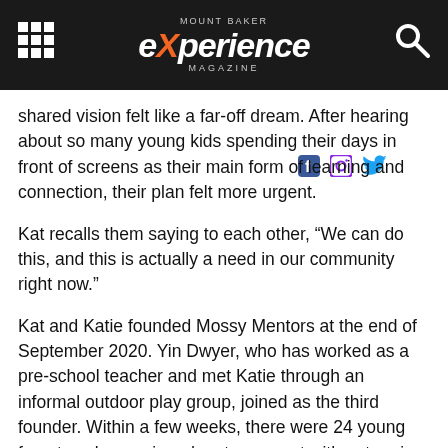MOUNT BAKER experience MAGAZINE
shared vision felt like a far-off dream. After hearing about so many young kids spending their days in front of screens as their main form of learning and connection, their plan felt more urgent.
Kat recalls them saying to each other, “We can do this, and this is actually a need in our community right now.”
Kat and Katie founded Mossy Mentors at the end of September 2020. Yin Dwyer, who has worked as a pre-school teacher and met Katie through an informal outdoor play group, joined as the third founder. Within a few weeks, there were 24 young forest explorers signed up to connect with nature in the Fairhaven park. The Bellingham school district's distance learning schedule leaves Wednesdays free for most students, so the program has been meeting weekly on Wednesdays from 10 a.m. to 2 p.m. With many extracurricular activities canceled, Mossy Mentors has offered something positive that families and kids can rely on every week.